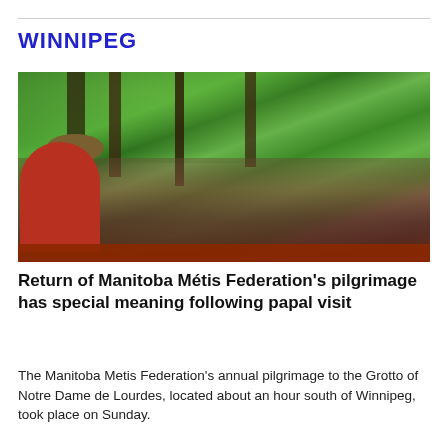WINNIPEG
[Figure (photo): Outdoor gathering of a large crowd seated on benches in a wooded area, viewed from behind. A figure stands at a podium or altar in the distance among trees. Lush green foliage overhead.]
Return of Manitoba Métis Federation's pilgrimage has special meaning following papal visit
The Manitoba Metis Federation's annual pilgrimage to the Grotto of Notre Dame de Lourdes, located about an hour south of Winnipeg, took place on Sunday.